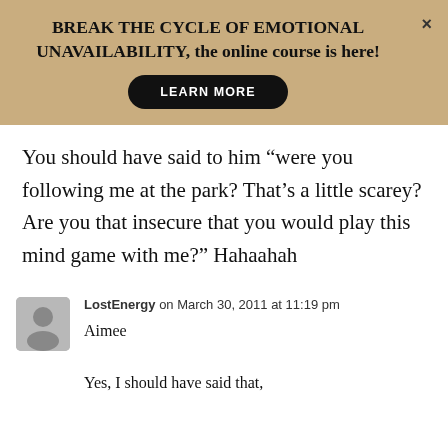[Figure (infographic): Tan/gold banner advertisement: 'BREAK THE CYCLE OF EMOTIONAL UNAVAILABILITY, the online course is here!' with a black 'LEARN MORE' pill button and an X close button]
You should have said to him “were you following me at the park? That’s a little scarey? Are you that insecure that you would play this mind game with me?” Hahaahah
LostEnergy on March 30, 2011 at 11:19 pm
Aimee
Yes, I should have said that,